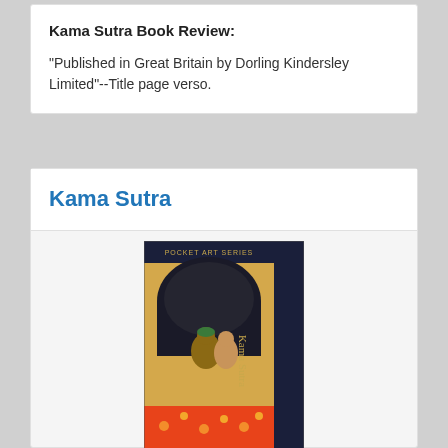Kama Sutra Book Review:
"Published in Great Britain by Dorling Kindersley Limited"--Title page verso.
Kama Sutra
[Figure (photo): Book cover of Kama Sutra from the Pocket Art Series published by Dorling Kindersley. The cover shows traditional Indian artwork with figures on a colorful background. The spine reads 'Kama Sutra'.]